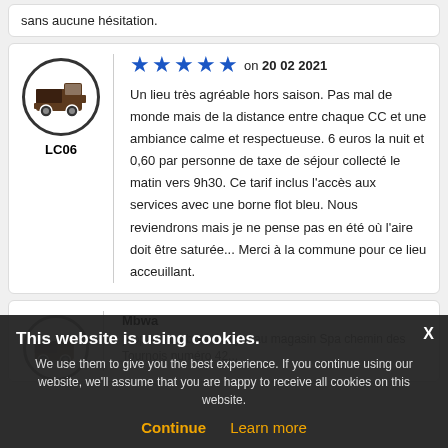sans aucune hésitation.
LC06 — 5 stars on 20 02 2021
Un lieu très agréable hors saison. Pas mal de monde mais de la distance entre chaque CC et une ambiance calme et respectueuse. 6 euros la nuit et 0,60 par personne de taxe de séjour collecté le matin vers 9h30. Ce tarif inclus l'accès aux services avec une borne flot bleu. Nous reviendrons mais je ne pense pas en été où l'aire doit être saturée... Merci à la commune pour ce lieu acceuillant.
Mbwa — propane ou butane il y a au magasin Spa chemin des Tournois numéro 42...
This website is using cookies. We use them to give you the best experience. If you continue using our website, we'll assume that you are happy to receive all cookies on this website. Continue | Learn more